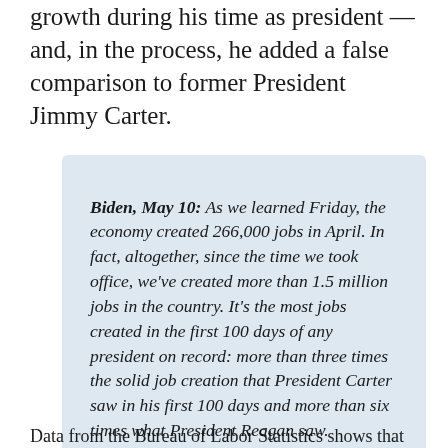growth during his time as president — and, in the process, he added a false comparison to former President Jimmy Carter.
Biden, May 10: As we learned Friday, the economy created 266,000 jobs in April. In fact, altogether, since the time we took office, we've created more than 1.5 million jobs in the country. It's the most jobs created in the first 100 days of any president on record: more than three times the solid job creation that President Carter saw in his first 100 days and more than six times what President Reagan saw.
Data from the Bureau of Labor Statistics shows that...